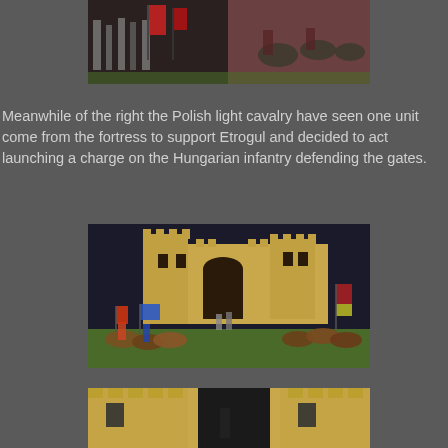[Figure (photo): Miniature wargame figures - Polish light cavalry and Hungarian troops with red banners and armor, on green gaming mat]
Meanwhile of the right the Polish light cavalry have seen one unit come from the fortress to support Etrogul and decided to act launching a charge on the Hungarian infantry defending the gates.
[Figure (photo): Miniature wargame scene showing a model medieval fortress with gate, knights on horseback charging, Polish cavalry with colorful banners attacking Hungarian infantry defenders at the castle gates]
[Figure (photo): Close-up of model medieval fortress wall/tower with battlements, showing detail of the tan/sandstone colored castle model]